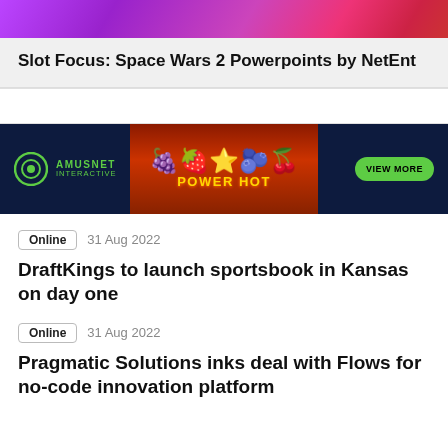[Figure (photo): Top decorative image strip with purple/pink gradient colors, abstract shapes]
Slot Focus: Space Wars 2 Powerpoints by NetEnt
[Figure (infographic): Amusnet Interactive Power Hot advertisement banner. Dark navy background with red center panel, fruit imagery, star, and green VIEW MORE button.]
Online  31 Aug 2022
DraftKings to launch sportsbook in Kansas on day one
Online  31 Aug 2022
Pragmatic Solutions inks deal with Flows for no-code innovation platform